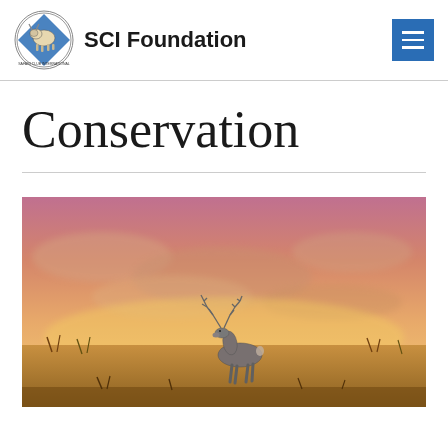SCI Foundation
Conservation
[Figure (photo): A white-tailed buck deer silhouetted against a warm pink and orange sunset sky with soft clouds, standing in tall grass in an open field.]